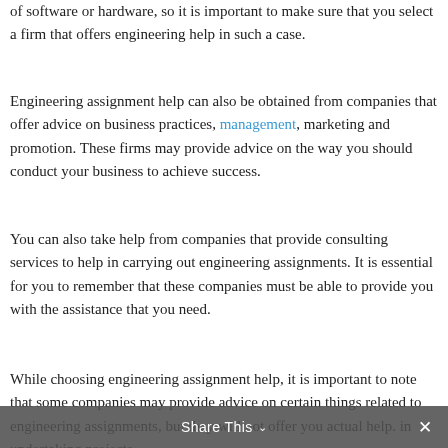of software or hardware, so it is important to make sure that you select a firm that offers engineering help in such a case.
Engineering assignment help can also be obtained from companies that offer advice on business practices, management, marketing and promotion. These firms may provide advice on the way you should conduct your business to achieve success.
You can also take help from companies that provide consulting services to help in carrying out engineering assignments. It is essential for you to remember that these companies must be able to provide you with the assistance that you need.
While choosing engineering assignment help, it is important to note that some companies may provide advice on certain things related to engineering assignments, but they will not offer you actual help. in undertaking projects.
Share This